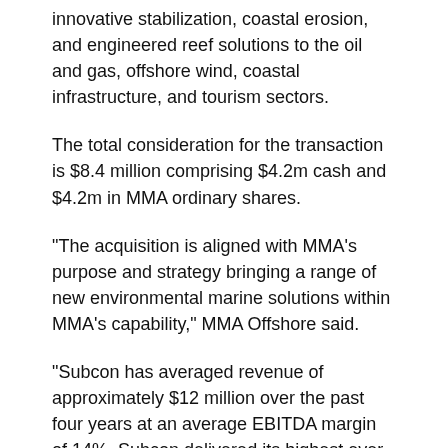innovative stabilization, coastal erosion, and engineered reef solutions to the oil and gas, offshore wind, coastal infrastructure, and tourism sectors.
The total consideration for the transaction is $8.4 million comprising $4.2m cash and $4.2m in MMA ordinary shares.
"The acquisition is aligned with MMA's purpose and strategy bringing a range of new environmental marine solutions within MMA's capability," MMA Offshore said.
"Subcon has averaged revenue of approximately $12 million over the past four years at an average EBITDA margin of 14%. Subcon delivered its highest ever EBITDA of approximately $4 million in FY2020, prior to the impacts of COVID-19," MMA Offshore said.
MMA Offshore said the acquisition supported the company's growth objectives, added enhanced capability to service its existing markets of oil and gas and offshore wind through the